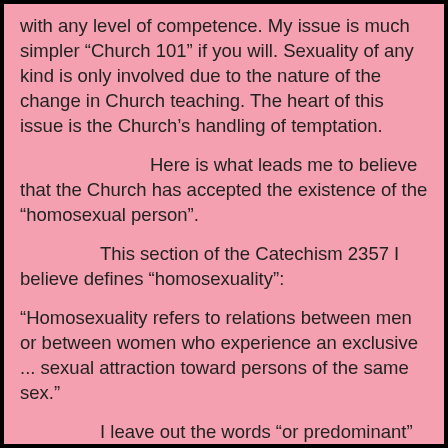with any level of competence. My issue is much simpler “Church 101” if you will. Sexuality of any kind is only involved due to the nature of the change in Church teaching. The heart of this issue is the Church’s handling of temptation.
Here is what leads me to believe that the Church has accepted the existence of the “homosexual person”.
This section of the Catechism 2357 I believe defines “homosexuality”:
“Homosexuality refers to relations between men or between women who experience an exclusive ... sexual attraction toward persons of the same sex.”
I leave out the words “or predominant” as that just makes the group size smaller and clarifies the definition. This statement says that there is a group of people who “experience an exclusive ... sexual attraction toward persons of the same